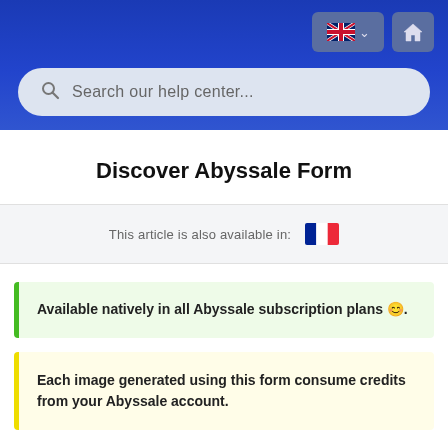Search our help center...
Discover Abyssale Form
This article is also available in:
Available natively in all Abyssale subscription plans 😊.
Each image generated using this form consume credits from your Abyssale account.